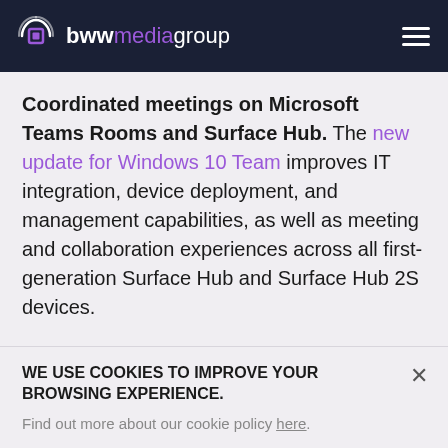bwwmediagroup
Coordinated meetings on Microsoft Teams Rooms and Surface Hub. The new update for Windows 10 Team improves IT integration, device deployment, and management capabilities, as well as meeting and collaboration experiences across all first-generation Surface Hub and Surface Hub 2S devices.
Support for Cortana voice assistance. Teams
WE USE COOKIES TO IMPROVE YOUR BROWSING EXPERIENCE.
Find out more about our cookie policy here.